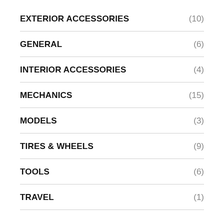EXTERIOR ACCESSORIES (10)
GENERAL (6)
INTERIOR ACCESSORIES (4)
MECHANICS (15)
MODELS (3)
TIRES & WHEELS (9)
TOOLS (6)
TRAVEL (1)